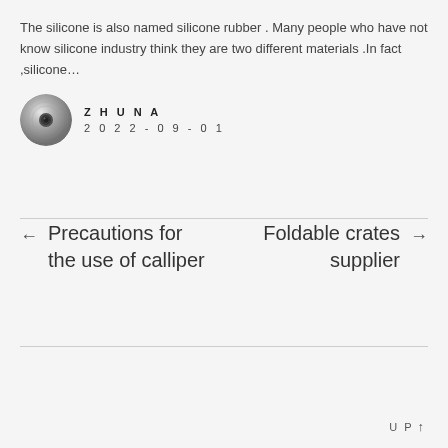The silicone is also named silicone rubber . Many people who have not know silicone industry think they are two different materials .In fact ,silicone…
[Figure (photo): Circular metallic disc avatar photo, silver/grey metallic appearance]
ZHUNA
2022-09-01
← Precautions for the use of calliper
Foldable crates supplier →
UP ↑